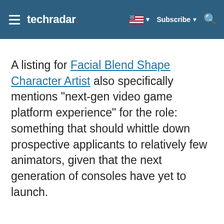techradar — Subscribe
A listing for Facial Blend Shape Character Artist also specifically mentions "next-gen video game platform experience" for the role: something that should whittle down prospective applicants to relatively few animators, given that the next generation of consoles have yet to launch.